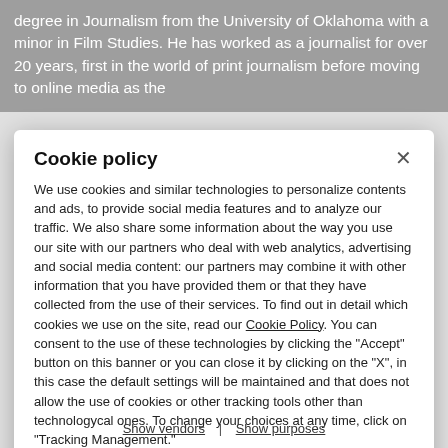degree in Journalism from the University of Oklahoma with a minor in Film Studies. He has worked as a journalist for over 20 years, first in the world of print journalism before moving to online media as the
Cookie policy
We use cookies and similar technologies to personalize contents and ads, to provide social media features and to analyze our traffic. We also share some information about the way you use our site with our partners who deal with web analytics, advertising and social media content: our partners may combine it with other information that you have provided them or that they have collected from the use of their services. To find out in detail which cookies we use on the site, read our Cookie Policy. You can consent to the use of these technologies by clicking the "Accept" button on this banner or you can close it by clicking on the "X", in this case the default settings will be maintained and that does not allow the use of cookies or other tracking tools other than technologycal ones. To change your choices at any time, click on “Tracking Management.”
ACCEPT
TRACKERS MANAGEMENT
Show vendors | Show purposes